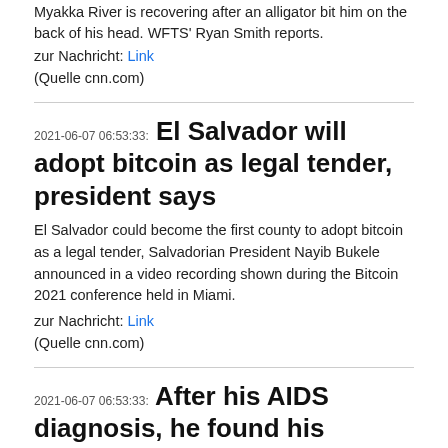Myakka River is recovering after an alligator bit him on the back of his head. WFTS' Ryan Smith reports.
zur Nachricht: Link
(Quelle cnn.com)
2021-06-07 06:53:33: El Salvador will adopt bitcoin as legal tender, president says
El Salvador could become the first county to adopt bitcoin as a legal tender, Salvadorian President Nayib Bukele announced in a video recording shown during the Bitcoin 2021 conference held in Miami.
zur Nachricht: Link
(Quelle cnn.com)
2021-06-07 06:53:33: After his AIDS diagnosis, he found his apartment belongings thrown out onto the street
On June 5, 1981, a curious report appeared in the Center